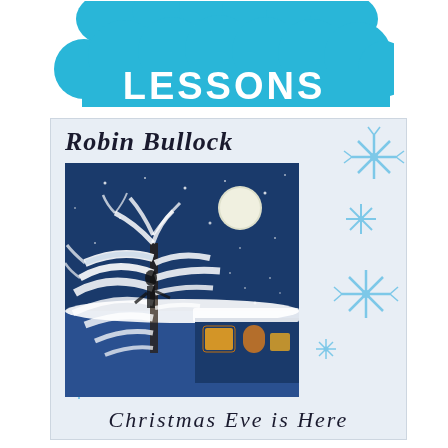[Figure (logo): Blue cloud-shaped logo with 'LESSONS' text in white, part of a music lessons brand with blue cloud bubbles at top]
[Figure (illustration): Album cover for Robin Bullock - Christmas Eve is Here. Shows a winter night scene with snow-covered white trees, a full moon, and a house with glowing orange/yellow windows. White background with blue snowflake decorations. Artist name 'Robin Bullock' in calligraphic script at top, album title 'Christmas Eve is Here' in italic script at bottom.]